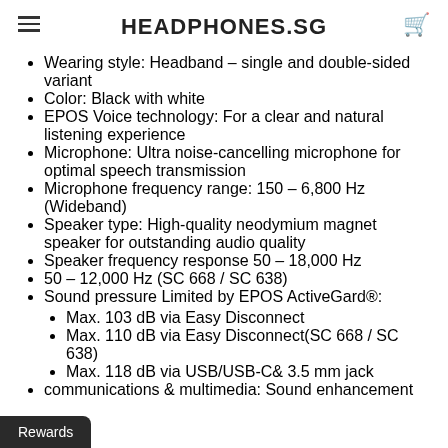HEADPHONES.SG
Wearing style: Headband – single and double-sided variant
Color: Black with white
EPOS Voice technology: For a clear and natural listening experience
Microphone: Ultra noise-cancelling microphone for optimal speech transmission
Microphone frequency range: 150 – 6,800 Hz (Wideband)
Speaker type: High-quality neodymium magnet speaker for outstanding audio quality
Speaker frequency response 50 – 18,000 Hz
50 – 12,000 Hz (SC 668 / SC 638)
Sound pressure Limited by EPOS ActiveGard®:
Max. 103 dB via Easy Disconnect
Max. 110 dB via Easy Disconnect(SC 668 / SC 638)
Max. 118 dB via USB/USB-C& 3.5 mm jack
communications & multimedia: Sound enhancement